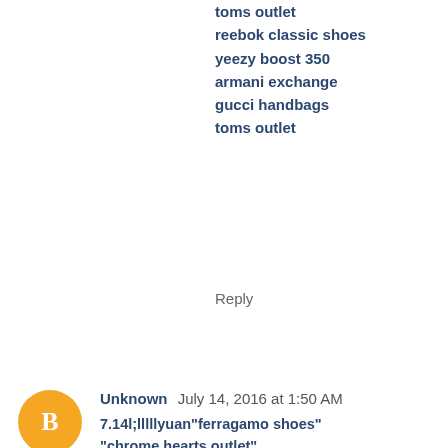toms outlet
reebok classic shoes
yeezy boost 350
armani exchange
gucci handbags
toms outlet
Reply
Unknown  July 14, 2016 at 1:50 AM
7.14l;lllllyuan"ferragamo shoes" "chrome hearts outlet" "air jordan shoes for sale" "tory burch outlet online" "hollister" "michael kors outlet" "ralph lauren femme" "thomas sabo uk" "adidas uk store" "louis vuitton outlet" "coach outlet" "coach handbags"